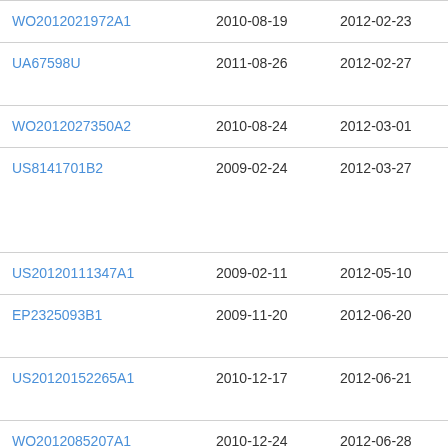| Patent Number | Filing Date | Publication Date | Assignee |
| --- | --- | --- | --- |
| WO2012021972A1 | 2010-08-19 | 2012-02-23 | Co… |
| UA67598U | 2011-08-26 | 2012-02-27 | Дм… Ро… |
| WO2012027350A2 | 2010-08-24 | 2012-03-01 | Eli … |
| US8141701B2 | 2009-02-24 | 2012-03-27 | Brit… Tob… (Im… Lim… |
| US20120111347A1 | 2009-02-11 | 2012-05-10 | Lik… |
| EP2325093B1 | 2009-11-20 | 2012-06-20 | Imp… Lim… |
| US20120152265A1 | 2010-12-17 | 2012-06-21 | R.J… Tob… |
| WO2012085207A1 | 2010-12-24 | 2012-06-28 | Phi… Pro… |